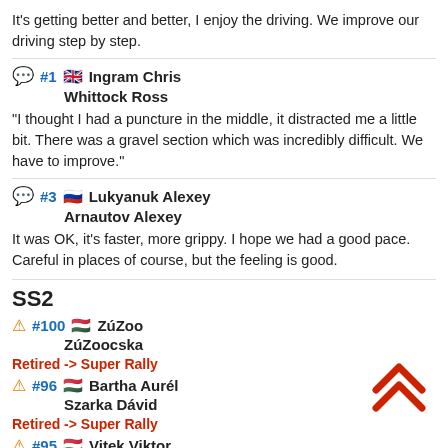It's getting better and better, I enjoy the driving. We improve our driving step by step.
#1 🇬🇧 Ingram Chris / Whittock Ross
"I thought I had a puncture in the middle, it distracted me a little bit. There was a gravel section which was incredibly difficult. We have to improve."
#3 🇷🇺 Lukyanuk Alexey / Arnautov Alexey
It was OK, it's faster, more grippy. I hope we had a good pace. Careful in places of course, but the feeling is good.
SS2
#100 🇭🇺 ZúZoo / ZúZoocska
Retired -> Super Rally
#96 🇭🇺 Bartha Aurél / Szarka Dávid
Retired -> Super Rally
#95 🇭🇺 Vitek Viktor / Holecz László